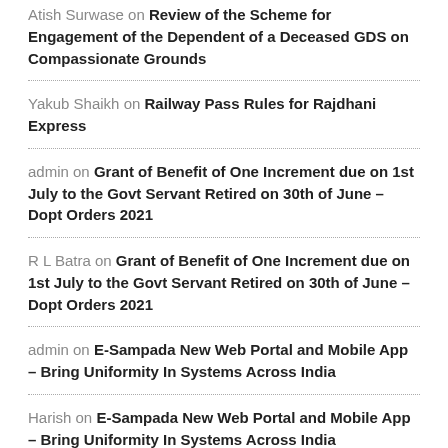Atish Surwase on Review of the Scheme for Engagement of the Dependent of a Deceased GDS on Compassionate Grounds
Yakub Shaikh on Railway Pass Rules for Rajdhani Express
admin on Grant of Benefit of One Increment due on 1st July to the Govt Servant Retired on 30th of June – Dopt Orders 2021
R L Batra on Grant of Benefit of One Increment due on 1st July to the Govt Servant Retired on 30th of June – Dopt Orders 2021
admin on E-Sampada New Web Portal and Mobile App – Bring Uniformity In Systems Across India
Harish on E-Sampada New Web Portal and Mobile App – Bring Uniformity In Systems Across India